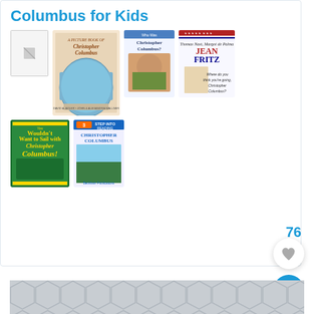Columbus for Kids
[Figure (illustration): Grid of book covers about Christopher Columbus for kids: A Picture Book of Christopher Columbus, Who Was Christopher Columbus?, Jean Fritz book, You Wouldn't Want to Sail with Christopher Columbus!, Step into Reading Christopher Columbus]
76
[Figure (infographic): Heart/favorite button (white circle with heart icon) and search button (blue circle with magnifying glass icon)]
[Figure (illustration): Decorative hexagonal pattern footer strip]